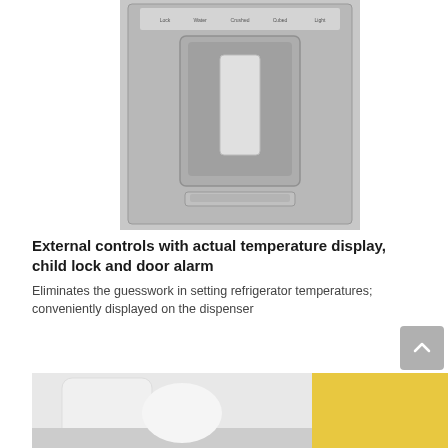[Figure (photo): Close-up photo of a stainless steel refrigerator door dispenser panel with control buttons at the top and a water/ice dispenser recess with a white lever handle in the center]
External controls with actual temperature display, child lock and door alarm
Eliminates the guesswork in setting refrigerator temperatures; conveniently displayed on the dispenser
[Figure (photo): Partial bottom photo showing refrigerator interior or contents with yellow and white items visible]